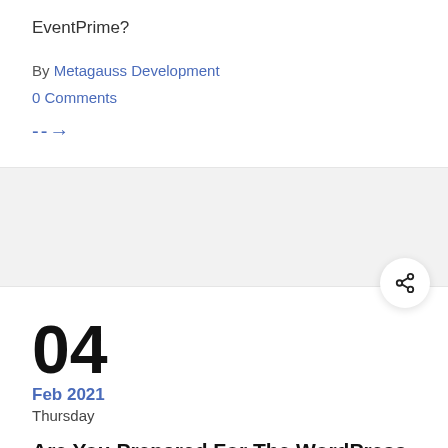EventPrime?
By Metagauss Development
0 Comments
-->
04
Feb 2021
Thursday
Are You Prepared For The WordPress jQuery Update in 2021?
WordPress is about to launch its 5.6 Simone version,